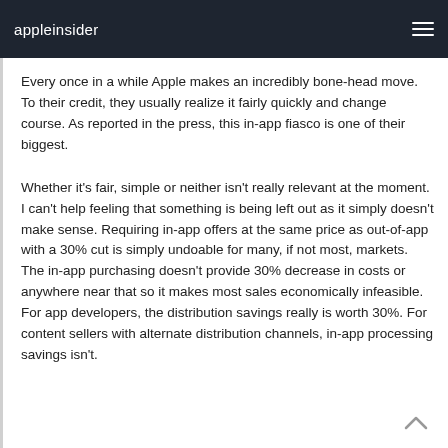appleinsider
Every once in a while Apple makes an incredibly bone-head move. To their credit, they usually realize it fairly quickly and change course. As reported in the press, this in-app fiasco is one of their biggest.
Whether it's fair, simple or neither isn't really relevant at the moment. I can't help feeling that something is being left out as it simply doesn't make sense. Requiring in-app offers at the same price as out-of-app with a 30% cut is simply undoable for many, if not most, markets. The in-app purchasing doesn't provide 30% decrease in costs or anywhere near that so it makes most sales economically infeasible. For app developers, the distribution savings really is worth 30%. For content sellers with alternate distribution channels, in-app processing savings isn't.